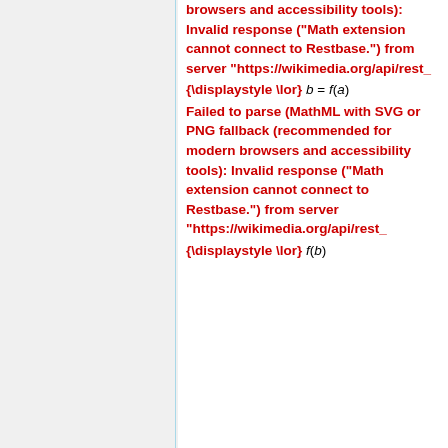browsers and accessibility tools): Invalid response ("Math extension cannot connect to Restbase.") from server "https://wikimedia.org/api/rest_
Failed to parse (MathML with SVG or PNG fallback (recommended for modern browsers and accessibility tools): Invalid response ("Math extension cannot connect to Restbase.") from server "https://wikimedia.org/api/rest_